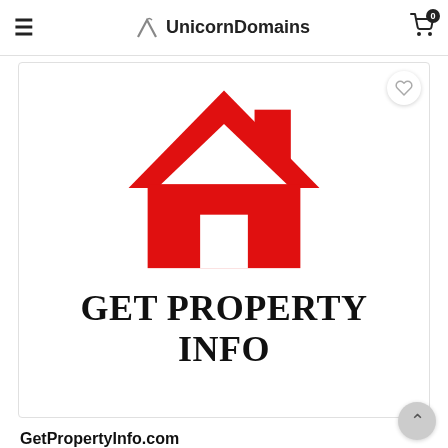UnicornDomains
[Figure (logo): Red house/home icon logo for GetPropertyInfo.com domain listing]
GET PROPERTY INFO
GetPropertyInfo.com